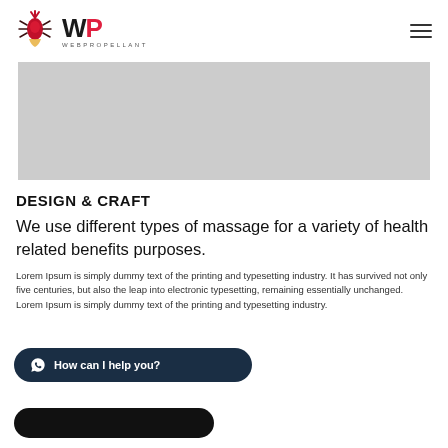[Figure (logo): WebPropellant logo with stylized WP letters and rocket/spider icon in red and dark colors, with WEBPROPELLANT text below]
[Figure (photo): Gray placeholder image rectangle in the hero/banner area]
DESIGN & CRAFT
We use different types of massage for a variety of health related benefits purposes.
Lorem Ipsum is simply dummy text of the printing and typesetting industry. It has survived not only five centuries, but also the leap into electronic typesetting, remaining essentially unchanged. Lorem Ipsum is simply dummy text of the printing and typesetting industry.